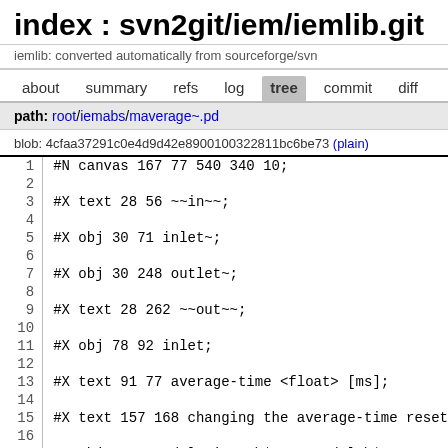index : svn2git/iem/iemlib.git
iemlib: converted automatically from sourceforge/svn
about  summary  refs  log  tree  commit  diff
path: root/iemabs/maverage~.pd
blob: 4cfaa37291c0e4d9d42e8900100322811bc6be73 (plain)
1  #N canvas 167 77 540 340 10;
2
3  #X text 28 56 ~~in~~;
4
5  #X obj 30 71 inlet~;
6
7  #X obj 30 248 outlet~;
8
9  #X text 28 262 ~~out~~;
10
11  #X obj 78 92 inlet;
12
13  #X text 91 77 average-time <float> [ms];
14
15  #X text 157 168 changing the average-time reset
16
17  #X obj 30 208 delwrite~ \$0-avrg_del \$1;